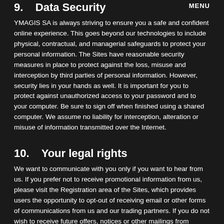9.   Data Security
YMAGIS SA is always striving to ensure you a safe and confident online experience. This goes beyond our technologies to include physical, contractual, and managerial safeguards to protect your personal information. The Sites have reasonable security measures in place to protect against the loss, misuse and interception by third parties of personal information. However, security lies in your hands as well. It is important for you to protect against unauthorized access to your password and to your computer. Be sure to sign off when finished using a shared computer. We assume no liability for interception, alteration or misuse of information transmitted over the Internet.
10.   Your legal rights
We want to communicate with you only if you want to hear from us. If you prefer not to receive promotional information from us, please visit the Registration area of the Sites, which provides users the opportunity to opt-out of receiving email or other forms of communications from us and our trading partners. If you do not wish to receive future offers, notices or other mailings from YMAGIS SA, please follow the "opt-out"/"unsubscribe" instructions located